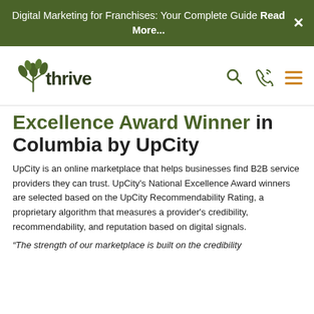Digital Marketing for Franchises: Your Complete Guide Read More...
[Figure (logo): Thrive Internet Marketing Agency logo with green leaf/plant icon and 'thrive' text in dark green]
Excellence Award Winner in Columbia by UpCity
UpCity is an online marketplace that helps businesses find B2B service providers they can trust. UpCity's National Excellence Award winners are selected based on the UpCity Recommendability Rating, a proprietary algorithm that measures a provider's credibility, recommendability, and reputation based on digital signals.
“The strength of our marketplace is built on the credibility